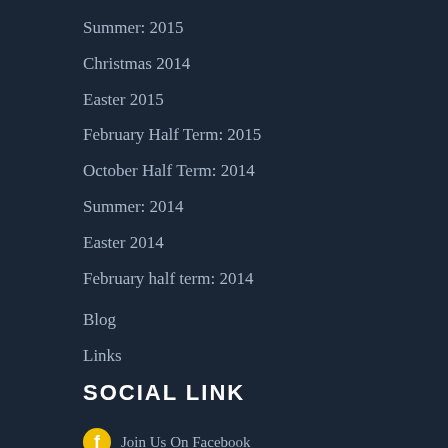Summer: 2015
Christmas 2014
Easter 2015
February Half Term: 2015
October Half Term: 2014
Summer: 2014
Easter 2014
February half term: 2014
Blog
Links
SOCIAL LINK
Join Us On Facebook